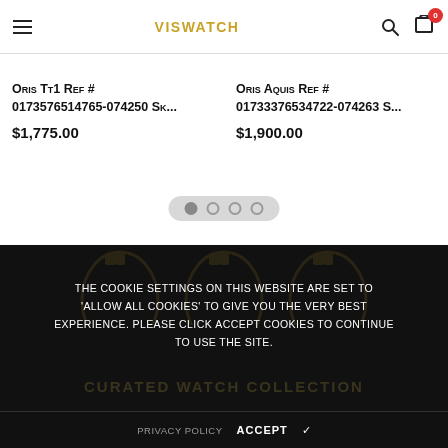VISwatch
Oris Tt1 Ref # 0173576514765-074250 Sk... $1,775.00
Oris Aquis Ref # 01733376534722-074263 S... $1,900.00
[Figure (other): Carousel pagination dots, 4 dots with first active]
[Figure (other): Cookie consent overlay on dark footer background with watermark watch silhouette]
The cookie settings on this website are set to 'allow all cookies' to give you the very best experience. Please click Accept Cookies to continue to use the site.
Curated Watch Collection
PRIVACY POLICY   ACCEPT ✓